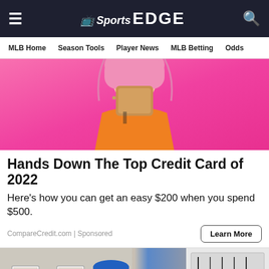NBC Sports EDGE — navigation header with MLB Home, Season Tools, Player News, MLB Betting, Odds
[Figure (photo): Woman with pink hair holding a credit card in front of her face against a pink background, wearing an orange outfit]
Hands Down The Top Credit Card of 2022
Here's how you can get an easy $200 when you spend $500.
CompareCredit.com | Sponsored
[Figure (photo): Older man wearing a blue cap and orange shirt working on an electrical panel or wiring board]